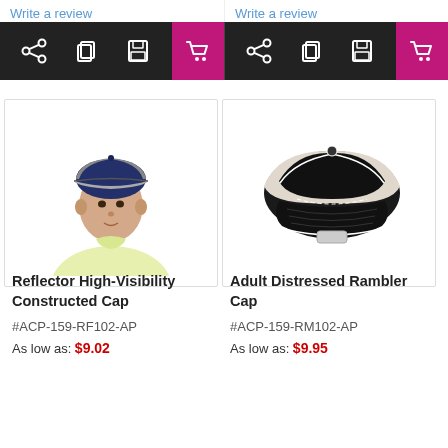Write a review
Write a review
[Figure (screenshot): Black toolbar with share, copy, save, and shopping cart (pink/magenta) icons — left product]
[Figure (screenshot): Black toolbar with share, copy, save, and shopping cart (pink/magenta) icons — right product]
[Figure (photo): Young man wearing a navy and grey Reflector High-Visibility Constructed Cap]
Reflector High-Visibility Constructed Cap
#ACP-159-RF102-AP
As low as: $9.02
[Figure (photo): Adult Distressed Rambler Cap — black and cream/off-white baseball cap, no model]
Adult Distressed Rambler Cap
#ACP-159-RM102-AP
As low as: $9.95